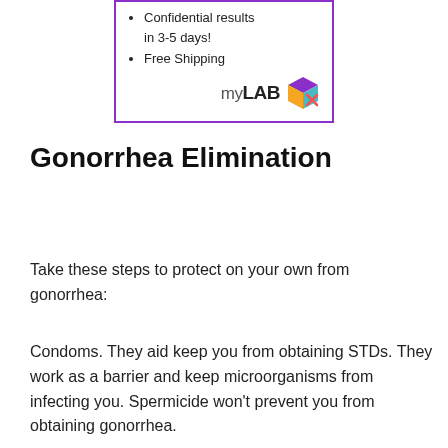[Figure (logo): myLAB Box advertisement box with purple border, bullet points: Confidential results in 3-5 days! and Free Shipping, with myLAB Box logo]
Gonorrhea Elimination
Take these steps to protect on your own from gonorrhea:
Condoms. They aid keep you from obtaining STDs. They work as a barrier and keep microorganisms from infecting you. Spermicide won't prevent you from obtaining gonorrhea.